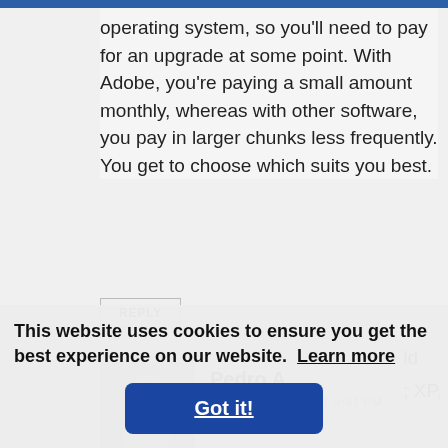operating system, so you'll need to pay for an upgrade at some point. With Adobe, you're paying a small amount monthly, whereas with other software, you pay in larger chunks less frequently. You get to choose which suits you best.
REPLY
[Figure (illustration): Gray placeholder avatar icon showing a person silhouette]
Pedro A.
MARCH 29, 2021 AT 9:41 PM
This website uses cookies to ensure you get the best experience on our website. Learn more
Got it!
will not make the editing software "out of date".